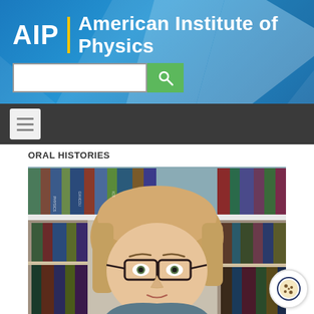AIP | American Institute of Physics
ORAL HISTORIES
[Figure (photo): Portrait photo of a woman with short blonde hair and glasses, standing in front of a bookshelf with various physics and science textbooks]